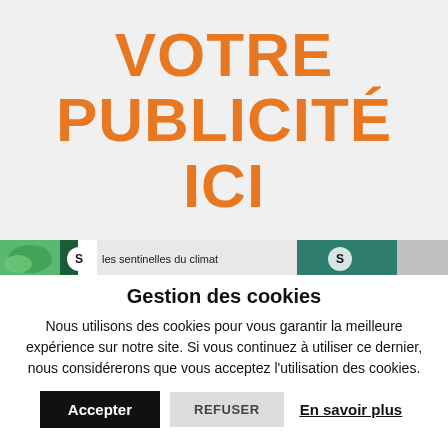[Figure (other): Advertisement placeholder with large orange bold text on grey background reading VOTRE PUBLICITÉ ICI]
[Figure (photo): Banner strip showing 'les sentinelles du climat' with logos on a green/teal background]
Gestion des cookies
Nous utilisons des cookies pour vous garantir la meilleure expérience sur notre site. Si vous continuez à utiliser ce dernier, nous considérerons que vous acceptez l'utilisation des cookies.
Accepter  REFUSER  En savoir plus